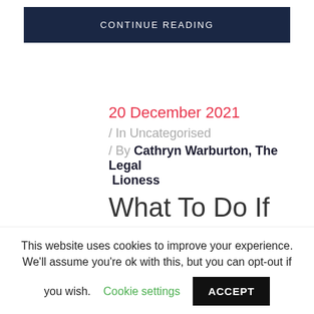CONTINUE READING
20 December 2021
/ In Uncategorised
/ By Cathryn Warburton, The Legal Lioness
What To Do If
This website uses cookies to improve your experience. We'll assume you're ok with this, but you can opt-out if you wish. Cookie settings ACCEPT